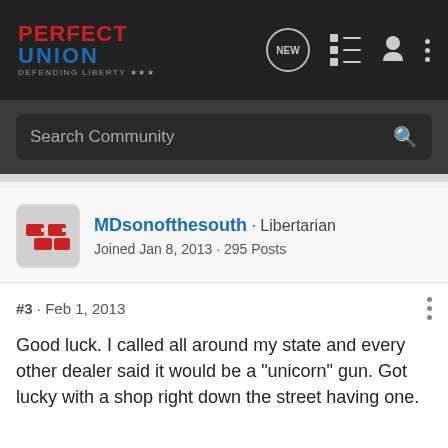Perfect Union · Defending Liberty · NEW
Search Community
[Figure (logo): User avatar icon for MDsonofthesouth — red puzzle/brick icon on grey background]
MDsonofthesouth · Libertarian
Joined Jan 8, 2013 · 295 Posts
#3 · Feb 1, 2013
Good luck. I called all around my state and every other dealer said it would be a "unicorn" gun. Got lucky with a shop right down the street having one.